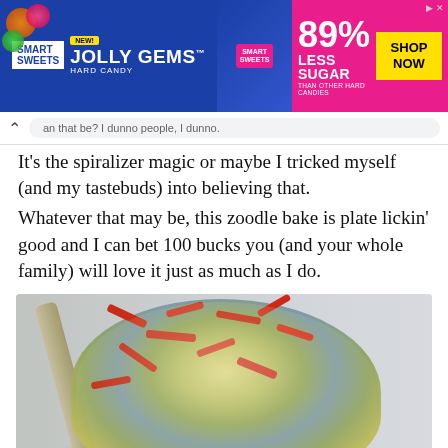[Figure (photo): Smart Sweets Jolly Gems Hard Candy advertisement banner. Blue and pink background. Text: NEW! JOLLY GEMS HARD CANDY, 89% LESS SUGAR THAN OTHER HARD CANDIES, SHOP NOW button. Smart Sweets logo visible.]
an that be? I dunno people, I dunno.
It's the spiralizer magic or maybe I tricked myself (and my tastebuds) into believing that.
Whatever that may be, this zoodle bake is plate lickin' good and I can bet 100 bucks you (and your whole family) will love it just as much as I do.
[Figure (photo): A serving spoon lifting a large pile of zucchini noodles (zoodles) topped with red pepper strips and melted cheese, held over a white baking dish. Light gray background.]